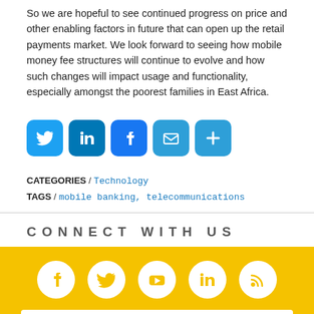So we are hopeful to see continued progress on price and other enabling factors in future that can open up the retail payments market. We look forward to seeing how mobile money fee structures will continue to evolve and how such changes will impact usage and functionality, especially amongst the poorest families in East Africa.
[Figure (infographic): Social sharing icons: Twitter (blue), LinkedIn (dark blue), Facebook (blue), Email (blue), More/Plus (blue)]
CATEGORIES / Technology
TAGS / mobile banking, telecommunications
CONNECT WITH US
[Figure (infographic): Yellow footer bar with five white circular social media icons: Facebook, Twitter, YouTube, LinkedIn, RSS feed]
+ Subscribe To Our Newsletter